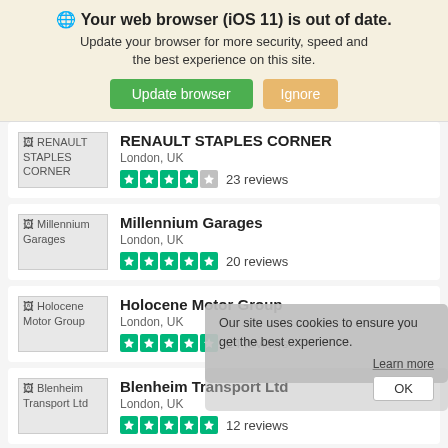[Figure (screenshot): Browser update notification banner with globe icon, bold title 'Your web browser (iOS 11) is out of date.', subtitle text, and two buttons: 'Update browser' (green) and 'Ignore' (tan/gold)]
RENAULT STAPLES CORNER | London, UK | ★★★★☆ 23 reviews
Millennium Garages | London, UK | ★★★★★ 20 reviews
Holocene Motor Group | London, UK | ★★★★★ 24 reviews
Blenheim Transport Ltd | London, UK | ★★★★★ 12 reviews
[Figure (screenshot): Cookie consent popup overlay: 'Our site uses cookies to ensure you get the best experience.' with 'Learn more' link and 'OK' button]